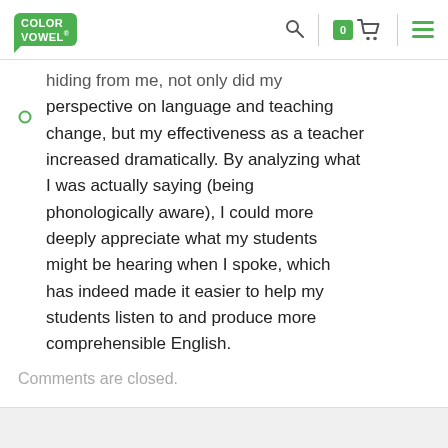Color Vowel — navigation bar with logo, search, cart (0), menu
hiding from me, not only did my perspective on language and teaching change, but my effectiveness as a teacher increased dramatically. By analyzing what I was actually saying (being phonologically aware), I could more deeply appreciate what my students might be hearing when I spoke, which has indeed made it easier to help my students listen to and produce more comprehensible English.
Comments are closed.